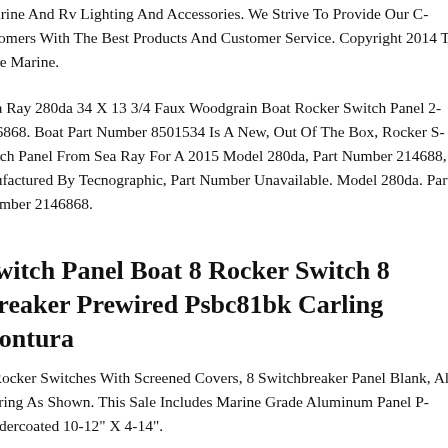Marine And Rv Lighting And Accessories. We Strive To Provide Our Customers With The Best Products And Customer Service. Copyright 2014 Trade Marine.
Sea Ray 280da 34 X 13 3/4 Faux Woodgrain Boat Rocker Switch Panel 2146868. Boat Part Number 8501534 Is A New, Out Of The Box, Rocker Switch Panel From Sea Ray For A 2015 Model 280da, Part Number 2146868, Manufactured By Tecnographic, Part Number Unavailable. Model 280da. Part Number 2146868.
Switch Panel Boat 8 Rocker Switch 8 Breaker Prewired Psbc81bk Carling Contura
8 Rocker Switches With Screened Covers, 8 Switchbreaker Panel Blank, All Wiring As Shown. This Sale Includes Marine Grade Aluminum Panel Powdercoated 10-12" X 4-14".
Find Crestliner Brushed Gray Push To Reset Panel Rocker Switch Pack By...